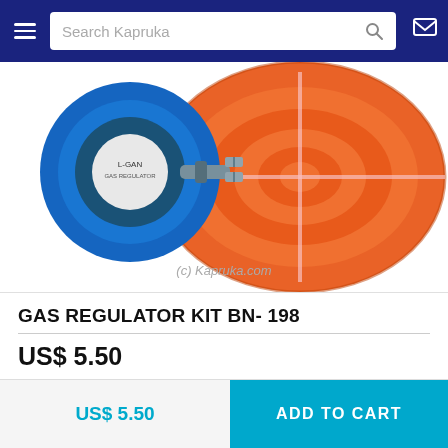Search Kapruka
[Figure (photo): Gas regulator kit product photo showing a blue gas regulator attached to a coiled orange gas hose with metal clamps, on a white background. Watermark: (c) Kapruka.com]
GAS REGULATOR KIT BN- 198
US$ 5.50
US$ 5.50
ADD TO CART